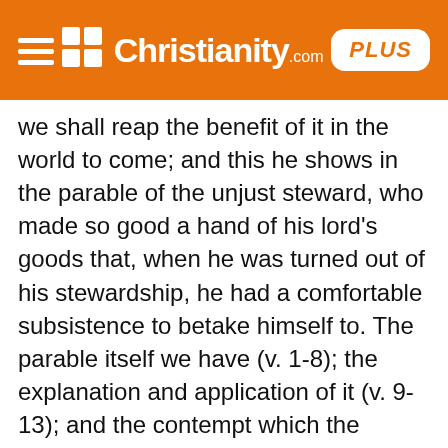Christianity.com PLUS
we shall reap the benefit of it in the world to come; and this he shows in the parable of the unjust steward, who made so good a hand of his lord's goods that, when he was turned out of his stewardship, he had a comfortable subsistence to betake himself to. The parable itself we have (v. 1-8); the explanation and application of it (v. 9-13); and the contempt which the Pharisees put upon the doctrine Christ preached to them, for which he sharply reproved them, adding some other weighty sayings (v. 14-18). II. It, instead of doing good with our worldly enjoyments, we make them the food and fuel of our lusts, of our luxury and sensuality, and deny relief to the poor, we shall certainly perish eternally, and the things of this world, which were